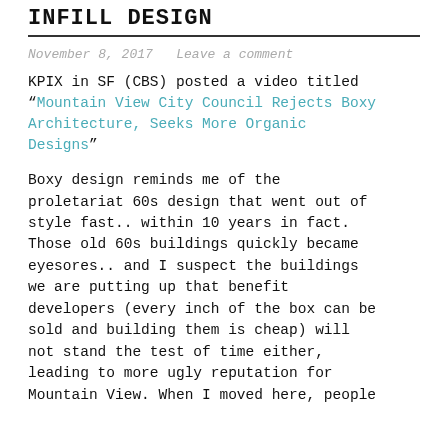INFILL DESIGN
November 8, 2017   Leave a comment
KPIX in SF (CBS) posted a video titled “Mountain View City Council Rejects Boxy Architecture, Seeks More Organic Designs”
Boxy design reminds me of the proletariat 60s design that went out of style fast.. within 10 years in fact. Those old 60s buildings quickly became eyesores.. and I suspect the buildings we are putting up that benefit developers (every inch of the box can be sold and building them is cheap) will not stand the test of time either, leading to more ugly reputation for Mountain View. When I moved here, people